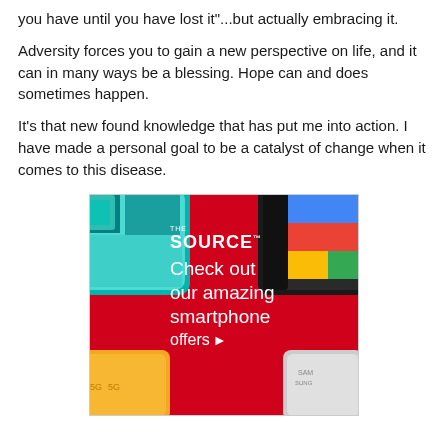you have until you have lost it"...but actually embracing it.
Adversity forces you to gain a new perspective on life, and it can in many ways be a blessing. Hope can and does sometimes happen.
It's that new found knowledge that has put me into action. I have made a personal goal to be a catalyst of change when it comes to this disease.
[Figure (illustration): Advertisement for The Source electronics retailer. Red background with smartphones arranged at corners. Text reads: THE SOURCE - Check out our amazing smartphone offers >]